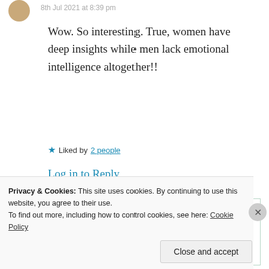8th Jul 2021 at 8:39 pm
Wow. So interesting. True, women have deep insights while men lack emotional intelligence altogether!!
Liked by 2 people
Log in to Reply
[Figure (illustration): Nested comment box with avatar at bottom, partially visible]
Privacy & Cookies: This site uses cookies. By continuing to use this website, you agree to their use.
To find out more, including how to control cookies, see here: Cookie Policy
Close and accept